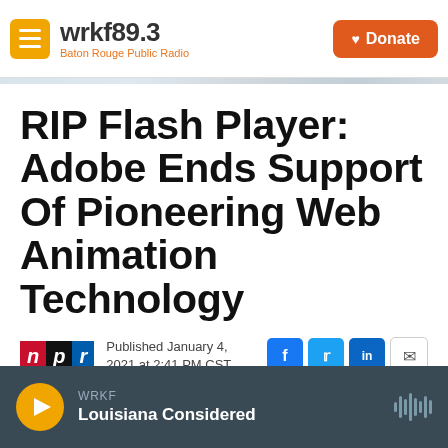wrkf89.3 Baton Rouge Public Radio | Donate
RIP Flash Player: Adobe Ends Support Of Pioneering Web Animation Technology
Published January 4, 2021 at 2:41 PM CST
LISTEN • 1:58
WRKF Louisiana Considered